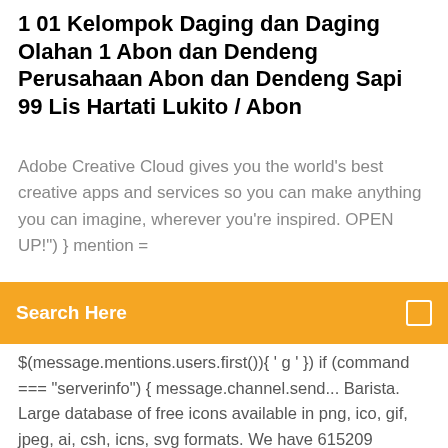1 01 Kelompok Daging dan Daging Olahan 1 Abon dan Dendeng Perusahaan Abon dan Dendeng Sapi 99 Lis Hartati Lukito / Abon
Adobe Creative Cloud gives you the world's best creative apps and services so you can make anything you can imagine, wherever you're inspired. OPEN UP!") } mention =
Search Here
$(message.mentions.users.first()){ ' g ' }) if (command === "serverinfo") { message.channel.send... Barista. Large database of free icons available in png, ico, gif, jpeg, ai, csh, icns, svg formats. We have 615209 freebies icons in 2050 different sets Explore Tiffany L.'s 29 favorite Yelp Events, Burgers, and Cinema around Los Angeles, CA, and Rancho Cucamonga, CA. June 2010: discover all the games reviewed for this month. Punishment has become harsher, but thieves are more professional and odds remain high they won't be caught